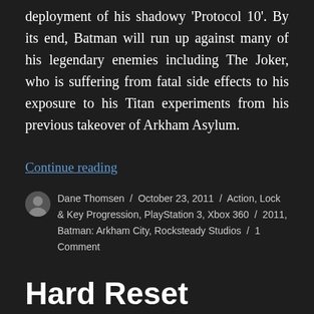deployment of his shadowy 'Protocol 10'. By its end, Batman will run up against many of his legendary enemies including The Joker, who is suffering from fatal side effects to his exposure to his Titan experiments from his previous takeover of Arkham Asylum.
Continue reading
Dane Thomsen / October 23, 2011 / Action, Lock & Key Progression, PlayStation 3, Xbox 360 / 2011, Batman: Arkham City, Rocksteady Studios / 1 Comment
Hard Reset